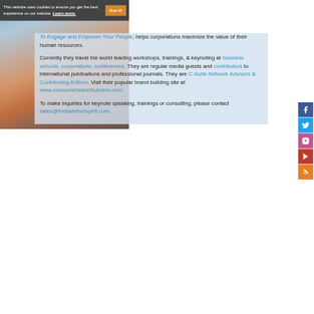This website uses cookies to ensure you get the best experience on our website. Learn more.
To Engage and Empower Your People, helps corporations maximize the value of their human resources.
Currently they travel the world leading workshops, trainings, & keynoting at business schools, corporations, conferences. They are regular media guests and contributors to international publications and professional journals. They are C-Suite Network Advisors & Contributing Editors. Visit their popular brand building site at www.consumerbrandbuilders.com.
To make inquiries for keynote speaking, trainings or consulting, please contact sales@thebarefootspirit.com.